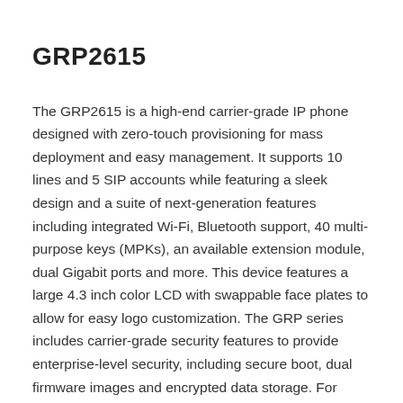GRP2615
The GRP2615 is a high-end carrier-grade IP phone designed with zero-touch provisioning for mass deployment and easy management. It supports 10 lines and 5 SIP accounts while featuring a sleek design and a suite of next-generation features including integrated Wi-Fi, Bluetooth support, 40 multi-purpose keys (MPKs), an available extension module, dual Gigabit ports and more. This device features a large 4.3 inch color LCD with swappable face plates to allow for easy logo customization. The GRP series includes carrier-grade security features to provide enterprise-level security, including secure boot, dual firmware images and encrypted data storage. For cloud provisioning and centralized management, the GRP2615 is supported by Grandstream's